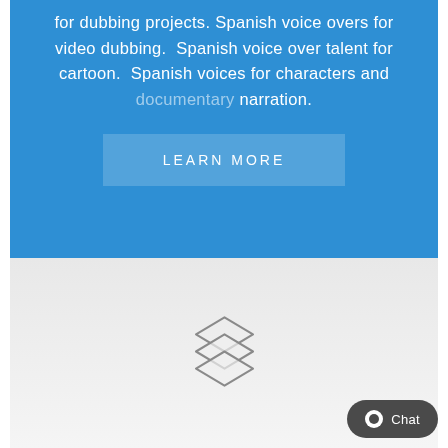for dubbing projects. Spanish voice overs for video dubbing. Spanish voice over talent for cartoon. Spanish voices for characters and documentary narration.
LEARN MORE
[Figure (illustration): Stacked layers icon — three overlapping diamond/rhombus shapes drawn in gray outline on a light gray background, resembling a layers symbol]
Chat